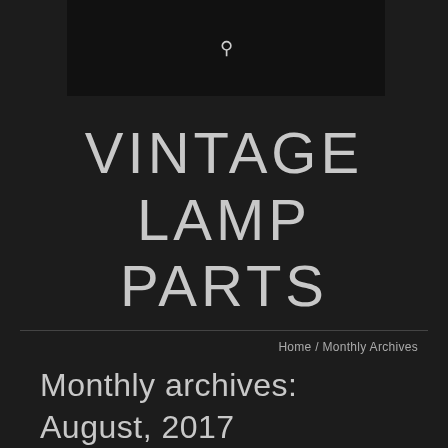🔍
VINTAGE LAMP PARTS
Home / Monthly Archives
Monthly archives: August, 2017